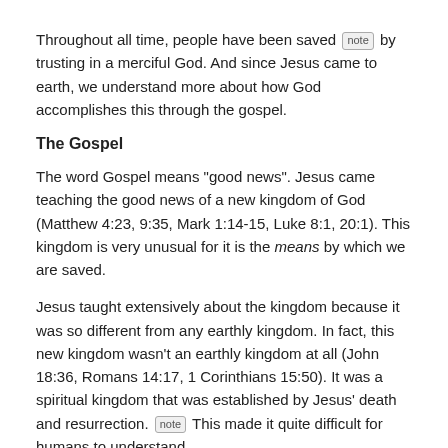Throughout all time, people have been saved [note] by trusting in a merciful God. And since Jesus came to earth, we understand more about how God accomplishes this through the gospel.
The Gospel
The word Gospel means "good news". Jesus came teaching the good news of a new kingdom of God (Matthew 4:23, 9:35, Mark 1:14-15, Luke 8:1, 20:1). This kingdom is very unusual for it is the means by which we are saved.
Jesus taught extensively about the kingdom because it was so different from any earthly kingdom. In fact, this new kingdom wasn't an earthly kingdom at all (John 18:36, Romans 14:17, 1 Corinthians 15:50). It was a spiritual kingdom that was established by Jesus' death and resurrection. [note] This made it quite difficult for humans to understand.
So: